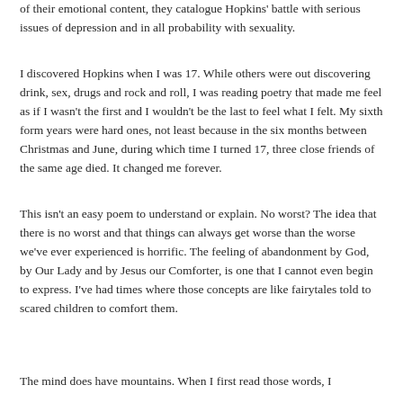of their emotional content, they catalogue Hopkins' battle with serious issues of depression and in all probability with sexuality.
I discovered Hopkins when I was 17. While others were out discovering drink, sex, drugs and rock and roll, I was reading poetry that made me feel as if I wasn't the first and I wouldn't be the last to feel what I felt. My sixth form years were hard ones, not least because in the six months between Christmas and June, during which time I turned 17, three close friends of the same age died. It changed me forever.
This isn't an easy poem to understand or explain. No worst? The idea that there is no worst and that things can always get worse than the worse we've ever experienced is horrific. The feeling of abandonment by God, by Our Lady and by Jesus our Comforter, is one that I cannot even begin to express. I've had times where those concepts are like fairytales told to scared children to comfort them.
The mind does have mountains. When I first read those words, I